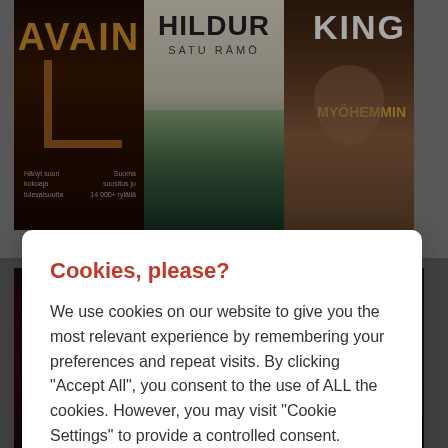[Figure (screenshot): Background showing book covers including AVAIN, HILDUR by Satu Rämö, KING/MYÖHEMMIN, and bottom row with books including Lyhyt Pysähdys Matkalla Auschwitzista and Pimeyden ytimeen]
Cookies, please?
We use cookies on our website to give you the most relevant experience by remembering your preferences and repeat visits. By clicking "Accept All", you consent to the use of ALL the cookies. However, you may visit "Cookie Settings" to provide a controlled consent.
Cookie settings
Accept all